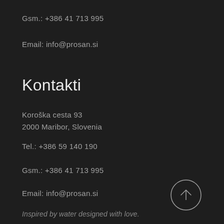Gsm.: +386 41 713 995
Email: info@prosan.si
Kontakti
Koroška cesta 93
2000 Maribor, Slovenia
Tel.: +386 59 140 190
Gsm.: +386 41 713 995
Email: info@prosan.si
[Figure (other): Circular arrow-up button / scroll-to-top icon]
Inspired by water designed with love.